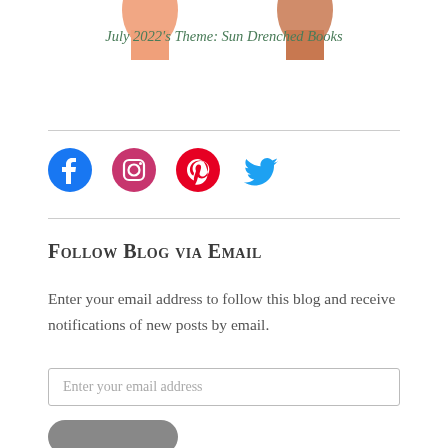[Figure (illustration): Two illustrated hands with peachy skin tone visible at the top of the page, cropped]
July 2022's Theme: Sun Drenched Books
[Figure (illustration): Social media icons row: Facebook (blue circle), Instagram (gradient circle), Pinterest (red circle), Twitter (blue bird)]
Follow Blog via Email
Enter your email address to follow this blog and receive notifications of new posts by email.
Enter your email address